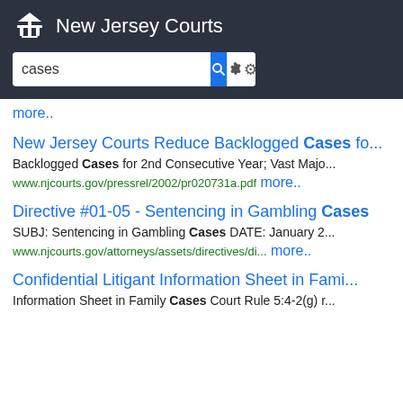New Jersey Courts — search bar with query 'cases'
more..
New Jersey Courts Reduce Backlogged Cases fo...
Backlogged Cases for 2nd Consecutive Year; Vast Majo...
www.njcourts.gov/pressrel/2002/pr020731a.pdf
more..
Directive #01-05 - Sentencing in Gambling Cases
SUBJ: Sentencing in Gambling Cases DATE: January 2...
www.njcourts.gov/attorneys/assets/directives/di...
more..
Confidential Litigant Information Sheet in Fami...
Information Sheet in Family Cases Court Rule 5:4-2(g) r...